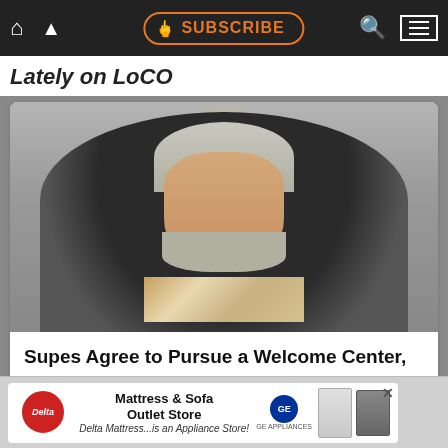SUBSCRIBE
Lately on LoCO
[Figure (photo): Man with gray hair and beard wearing a patterned shirt, seated in a black chair, appearing to speak at a public meeting]
Supes Agree to Pursue a Welcome Center, Though Madrone Says He Thought of It First
[Figure (other): Advertisement for Delta Mattress & Sofa Outlet Store - an Appliance Store, with GE Appliances logo and images of refrigerator and stove]